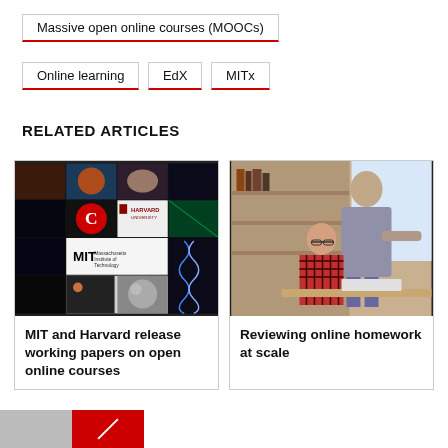Massive open online courses (MOOCs)
Online learning
EdX
MITx
RELATED ARTICLES
[Figure (photo): Collage of images including Harvard University, MIT logos, and various scientific and educational imagery]
MIT and Harvard release working papers on open online courses
[Figure (photo): Two students, a man and a woman wearing glasses, working at a desk in a classroom or library setting]
Reviewing online homework at scale